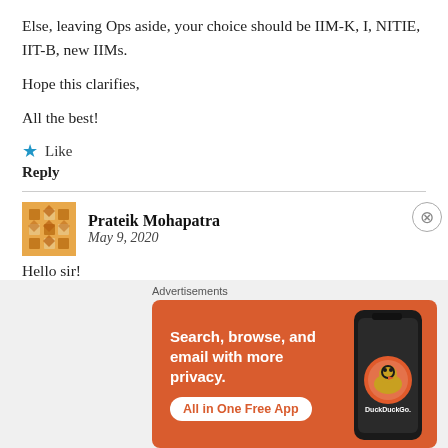Else, leaving Ops aside, your choice should be IIM-K, I, NITIE, IIT-B, new IIMs.
Hope this clarifies,
All the best!
★ Like
Reply
Prateik Mohapatra
May 9, 2020
Hello sir!
[Figure (infographic): DuckDuckGo advertisement: orange background with phone graphic, text 'Search, browse, and email with more privacy. All in One Free App', DuckDuckGo logo and branding.]